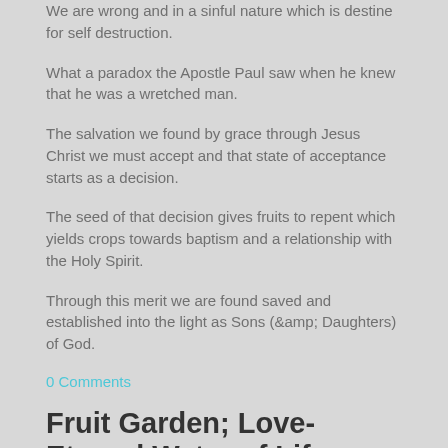We are wrong and in a sinful nature which is destine for self destruction.
What a paradox the Apostle Paul saw when he knew that he was a wretched man.
The salvation we found by grace through Jesus Christ we must accept and that state of acceptance starts as a decision.
The seed of that decision gives fruits to repent which yields crops towards baptism and a relationship with the Holy Spirit.
Through this merit we are found saved and established into the light as Sons (&amp; Daughters) of God.
0 Comments
Fruit Garden; Love-Eternal Water of Life
10/5/2013
0 Comments